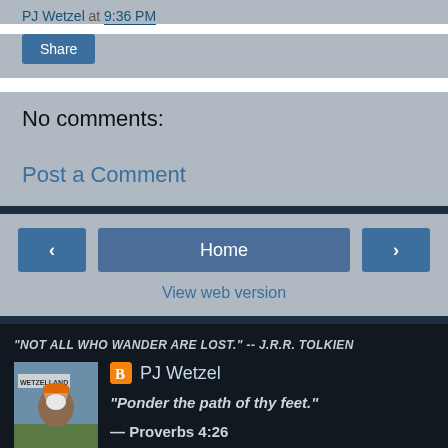PJ Wetzel at 9:36 PM
Share
No comments:
Post a Comment
Home
View web version
"NOT ALL WHO WANDER ARE LOST." -- J.R.R. TOLKIEN
[Figure (photo): Profile photo of PJ Wetzel, man with beard wearing orange cap, outdoor background with sign reading WETZELLAND]
PJ Wetzel
"Ponder the path of thy feet."
— Proverbs 4:26
Welcome. This site is about traveling the natural way—on foot.